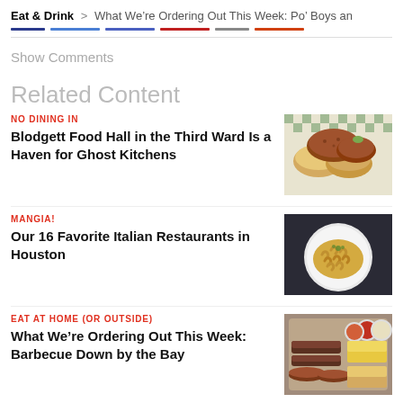Eat & Drink > What We're Ordering Out This Week: Po' Boys an
Show Comments
Related Content
NO DINING IN
Blodgett Food Hall in the Third Ward Is a Haven for Ghost Kitchens
[Figure (photo): Fried chicken tenders and bread on green checkered paper]
MANGIA!
Our 16 Favorite Italian Restaurants in Houston
[Figure (photo): Plate of pasta (mac and cheese style) on white plate]
EAT AT HOME (OR OUTSIDE)
What We're Ordering Out This Week: Barbecue Down by the Bay
[Figure (photo): BBQ spread with meats, sauces, and sides on wooden board]